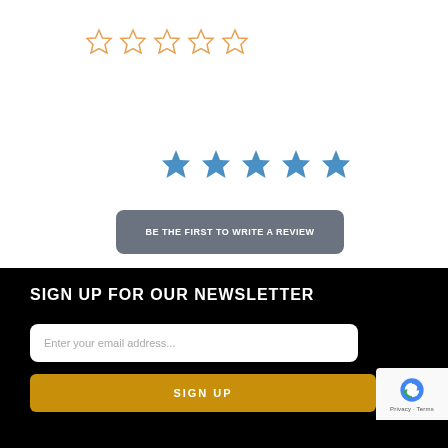[Figure (other): Five empty/outline star rating icons in orange/gold color]
[Figure (other): Five filled solid star rating icons in blue color]
BE THE FIRST TO WRITE A REVIEW
SIGN UP FOR OUR NEWSLETTER
Enter your email address...
SIGN UP